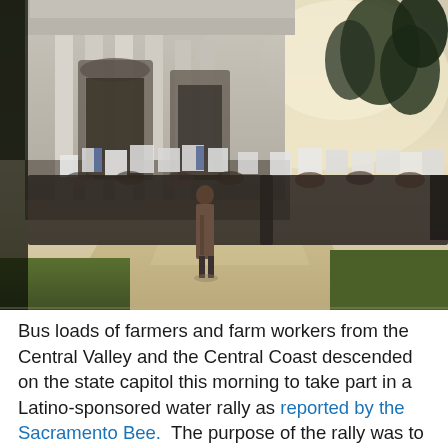[Figure (photo): Crowd of farmers and farm workers holding signs gathered outside the California state capitol building. One person stands alone on the walkway in foreground. Trees and bright sky visible in background.]
Bus loads of farmers and farm workers from the Central Valley and the Central Coast descended on the state capitol this morning to take part in a Latino-sponsored water rally as reported by the Sacramento Bee. The purpose of the rally was to bring attention to the state's severe water shortage, and the effect